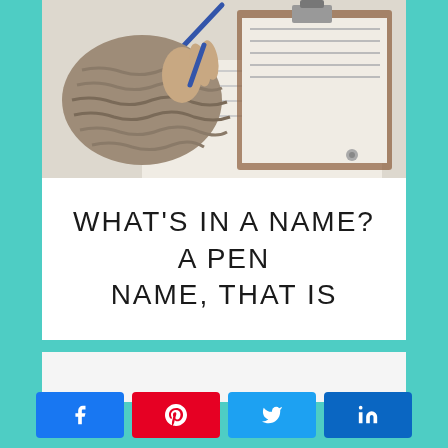[Figure (photo): A hand wearing a cozy knit sweater sleeve, holding a pen and writing on paper/clipboard]
WHAT'S IN A NAME? A PEN NAME, THAT IS